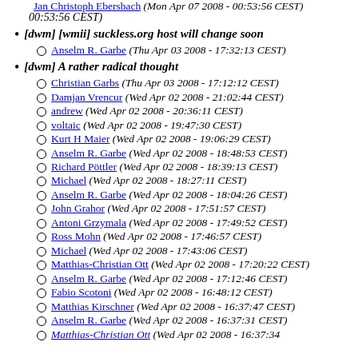Jan Christoph Ebersbach (Mon Apr 07 2008 - 00:53:56 CEST)
[dwm] [wmii] suckless.org host will change soon
Anselm R. Garbe (Thu Apr 03 2008 - 17:32:13 CEST)
[dwm] A rather radical thought
Christian Garbs (Thu Apr 03 2008 - 17:12:12 CEST)
Damjan Vrencur (Wed Apr 02 2008 - 21:02:44 CEST)
andrew (Wed Apr 02 2008 - 20:36:11 CEST)
voltaic (Wed Apr 02 2008 - 19:47:30 CEST)
Kurt H Maier (Wed Apr 02 2008 - 19:06:29 CEST)
Anselm R. Garbe (Wed Apr 02 2008 - 18:48:53 CEST)
Richard Pöttler (Wed Apr 02 2008 - 18:39:13 CEST)
Michael (Wed Apr 02 2008 - 18:27:11 CEST)
Anselm R. Garbe (Wed Apr 02 2008 - 18:04:26 CEST)
John Grahor (Wed Apr 02 2008 - 17:51:57 CEST)
Antoni Grzymala (Wed Apr 02 2008 - 17:49:52 CEST)
Ross Mohn (Wed Apr 02 2008 - 17:46:57 CEST)
Michael (Wed Apr 02 2008 - 17:43:06 CEST)
Matthias-Christian Ott (Wed Apr 02 2008 - 17:20:22 CEST)
Anselm R. Garbe (Wed Apr 02 2008 - 17:12:46 CEST)
Fabio Scotoni (Wed Apr 02 2008 - 16:48:12 CEST)
Matthias Kirschner (Wed Apr 02 2008 - 16:37:47 CEST)
Anselm R. Garbe (Wed Apr 02 2008 - 16:37:31 CEST)
Matthias-Christian Ott (Wed Apr 02 2008 - 16:37:34)